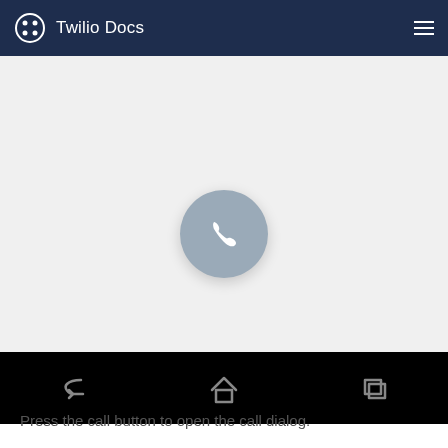Twilio Docs
[Figure (screenshot): Android app screenshot showing a light grey screen with a circular grey call button (phone handset icon) in the center-lower area, and an Android navigation bar at the bottom with back, home, and recents icons.]
Press the call button to open the call dialog.